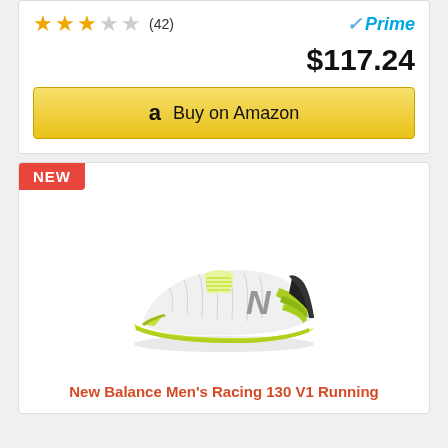★★★☆☆ (42)  ✓Prime
$117.24
Buy on Amazon
[Figure (photo): New Balance Men's Racing 130 V1 Running shoe, white and yellow-green colorway, side profile view]
New Balance Men's Racing 130 V1 Running